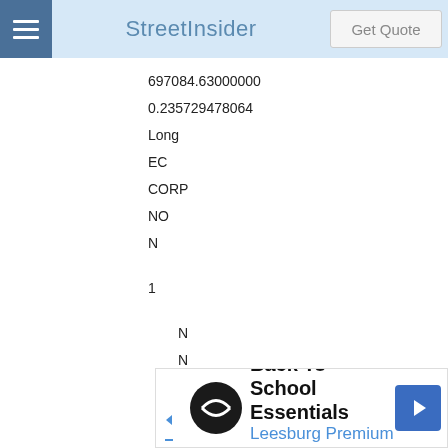StreetInsider
697084.63000000
0.235729478064
Long
EC
CORP
NO
N
1
N
N
N
Drax Group PLC
549300YPSNTXR4ZHSR98
000000000
[Figure (other): Advertisement banner for Back To School Essentials at Leesburg Premium Outlets]